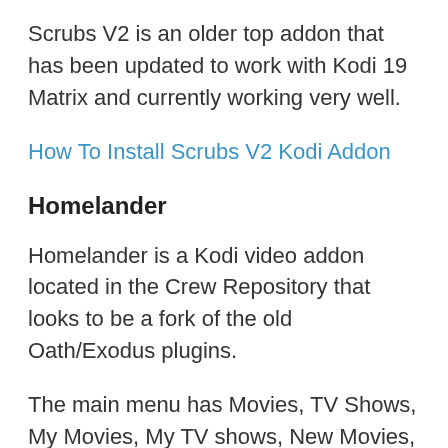Scrubs V2 is an older top addon that has been updated to work with Kodi 19 Matrix and currently working very well.
How To Install Scrubs V2 Kodi Addon
Homelander
Homelander is a Kodi video addon located in the Crew Repository that looks to be a fork of the old Oath/Exodus plugins.
The main menu has Movies, TV Shows, My Movies, My TV shows, New Movies, New Episodes, People, Tools, and